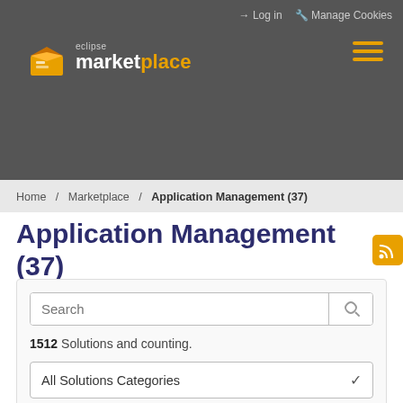Log in  Manage Cookies
[Figure (logo): Eclipse Marketplace logo with orange box icon and text 'eclipse marketplace']
[Figure (other): Orange hamburger menu icon (three horizontal lines)]
Home / Marketplace / Application Management (37)
Application Management (37)
1512 Solutions and counting.
All Solutions Categories
All Markets